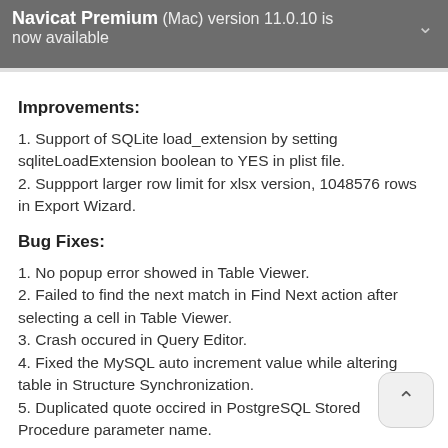Navicat Premium (Mac) version 11.0.10 is now available
Improvements:
1. Support of SQLite load_extension by setting sqliteLoadExtension boolean to YES in plist file.
2. Suppport larger row limit for xlsx version, 1048576 rows in Export Wizard.
Bug Fixes:
1. No popup error showed in Table Viewer.
2. Failed to find the next match in Find Next action after selecting a cell in Table Viewer.
3. Crash occured in Query Editor.
4. Fixed the MySQL auto increment value while altering table in Structure Synchronization.
5. Duplicated quote occired in PostgreSQL Stored Procedure parameter name.